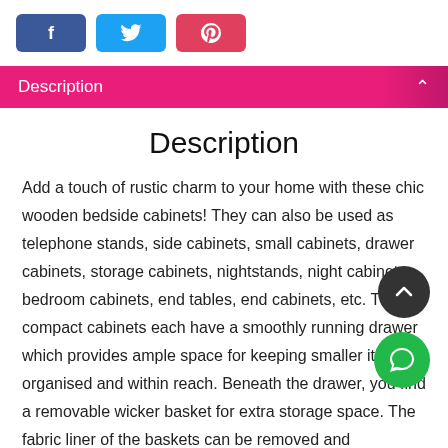[Figure (other): Social share buttons: Facebook (blue), Twitter (light blue), Pinterest (pink/red)]
Description
Description
Add a touch of rustic charm to your home with these chic wooden bedside cabinets! They can also be used as telephone stands, side cabinets, small cabinets, drawer cabinets, storage cabinets, nightstands, night cabinets, bedroom cabinets, end tables, end cabinets, etc. The compact cabinets each have a smoothly running drawer which provides ample space for keeping smaller items organised and within reach. Beneath the drawer, you find a removable wicker basket for extra storage space. The fabric liner of the baskets can be removed and